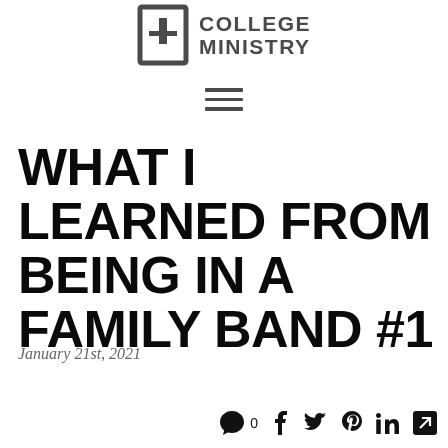[Figure (logo): College Ministry logo with cross symbol in a bracket and bold text reading COLLEGE MINISTRY]
[Figure (other): Hamburger menu icon with three horizontal lines]
WHAT I LEARNED FROM BEING IN A FAMILY BAND #1
January 21st, 2021
[Figure (other): Social sharing icons: comment bubble with 0, Facebook, Twitter, Pinterest, LinkedIn, external link]